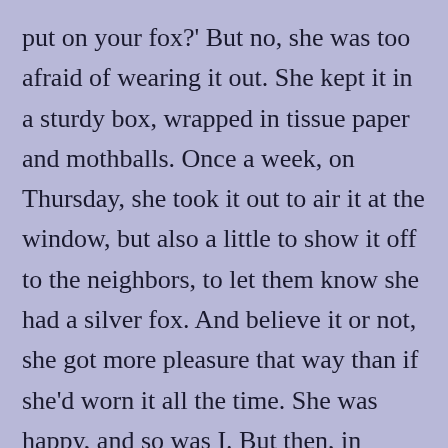put on your fox?' But no, she was too afraid of wearing it out. She kept it in a sturdy box, wrapped in tissue paper and mothballs. Once a week, on Thursday, she took it out to air it at the window, but also a little to show it off to the neighbors, to let them know she had a silver fox. And believe it or not, she got more pleasure that way than if she'd worn it all the time. She was happy, and so was I. But then, in 1937, I, who'd been so strong, all of a sudden wasn't doing so well; old age hit me like a brick. My head was heavy, I was always sleeping, my legs were swollen—I was ruined for work. It was time to hang up the yoke and think about living on the interest from our savings. We had